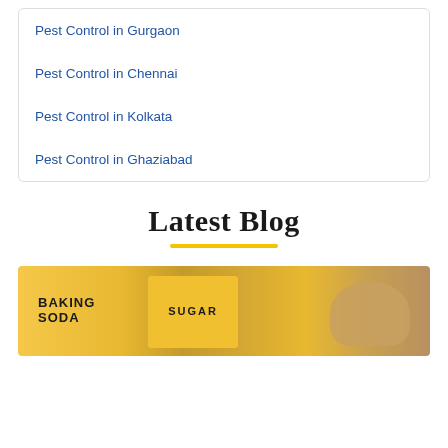Pest Control in Gurgaon
Pest Control in Chennai
Pest Control in Kolkata
Pest Control in Ghaziabad
Latest Blog
[Figure (photo): Photo of yellow labeled kitchen containers including Baking Soda and Sugar canisters with bread in background]